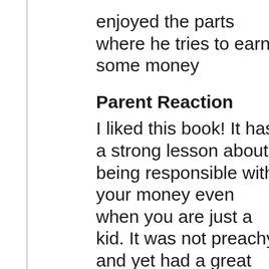enjoyed the parts where he tries to earn some money
Parent Reaction
I liked this book! It has a strong lesson about being responsible with your money even when you are just a kid. It was not preachy and yet had a great message that was easy for all children to understand. I